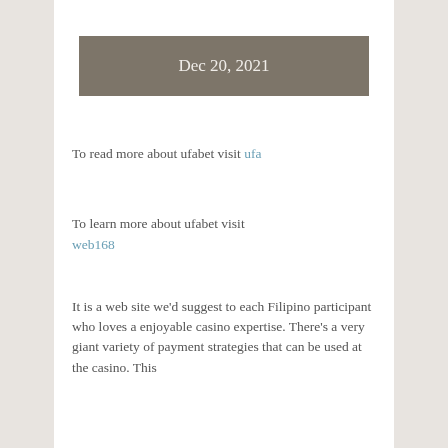Dec 20, 2021
To read more about ufabet visit ufa
To learn more about ufabet visit web168
It is a web site we'd suggest to each Filipino participant who loves a enjoyable casino expertise. There's a very giant variety of payment strategies that can be used at the casino. This